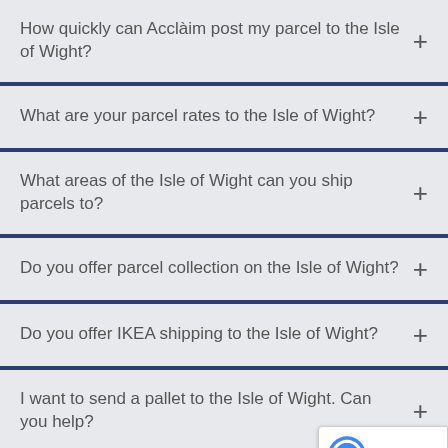How quickly can Acclàim post my parcel to the Isle of Wight?
What are your parcel rates to the Isle of Wight?
What areas of the Isle of Wight can you ship parcels to?
Do you offer parcel collection on the Isle of Wight?
Do you offer IKEA shipping to the Isle of Wight?
I want to send a pallet to the Isle of Wight. Can you help?
What areas of the Isle of Wight can you ship pallets to?
Do you offer pallet collection on the Isle of Wight?